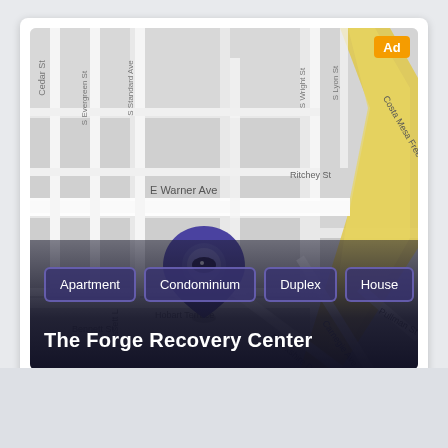[Figure (map): Street map showing location of The Forge Recovery Center in what appears to be Santa Ana/Costa Mesa area, California. Shows streets including E Warner Ave, Costa Mesa Freeway, Brookshire Dr, Pullman St, S Lyon St, S Wright St, Ritchey St, S Standard Ave, S Evergreen St, Cedar St. A purple map pin marker is placed on the location. An 'Ad' badge appears in the top right corner. Housing type buttons (Apartment, Condominium, Duplex, House) appear as overlay buttons. Title 'The Forge Recovery Center' appears at the bottom.]
The Forge Recovery Center